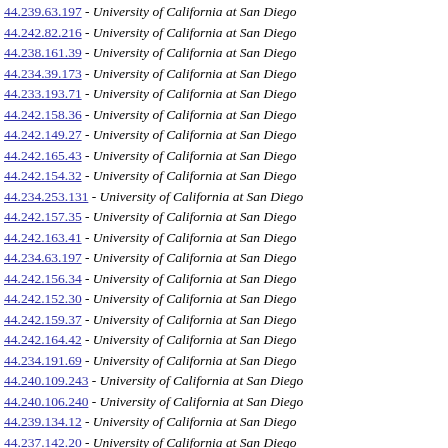44.239.63.197 - University of California at San Diego
44.242.82.216 - University of California at San Diego
44.238.161.39 - University of California at San Diego
44.234.39.173 - University of California at San Diego
44.233.193.71 - University of California at San Diego
44.242.158.36 - University of California at San Diego
44.242.149.27 - University of California at San Diego
44.242.165.43 - University of California at San Diego
44.242.154.32 - University of California at San Diego
44.234.253.131 - University of California at San Diego
44.242.157.35 - University of California at San Diego
44.242.163.41 - University of California at San Diego
44.234.63.197 - University of California at San Diego
44.242.156.34 - University of California at San Diego
44.242.152.30 - University of California at San Diego
44.242.159.37 - University of California at San Diego
44.242.164.42 - University of California at San Diego
44.234.191.69 - University of California at San Diego
44.240.109.243 - University of California at San Diego
44.240.106.240 - University of California at San Diego
44.239.134.12 - University of California at San Diego
44.237.142.20 - University of California at San Diego
44.235.202.80 - University of California at San Diego
44.239.7.141 - University of California at San Diego
44.27.225.103 - University of California at San Diego
44.237.137.15 - University of California at San Diego
44.236.133.11 - University of California at San Diego
44.242.0.134 - University of California at San Diego
44.239.181.59 - University of California at San Diego
44.240.58.192 - University of California at San Diego